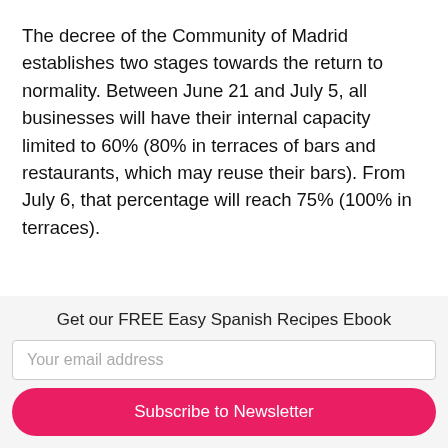The decree of the Community of Madrid establishes two stages towards the return to normality. Between June 21 and July 5, all businesses will have their internal capacity limited to 60% (80% in terraces of bars and restaurants, which may reuse their bars). From July 6, that percentage will reach 75% (100% in terraces).
The use of a mask will continue to be mandatory when you cannot keep 1.5 meters away from other people. These guidelines are applicable to the vast majority of businesses and equipment, with some exceptions.
Recreational pools will have until a maximum capacity of 50%. Discos will remain closed at least until July 5, as will the social service centres, except nursing homes. These will
Get our FREE Easy Spanish Recipes Ebook
Your email address
Subscribe to Newsletter